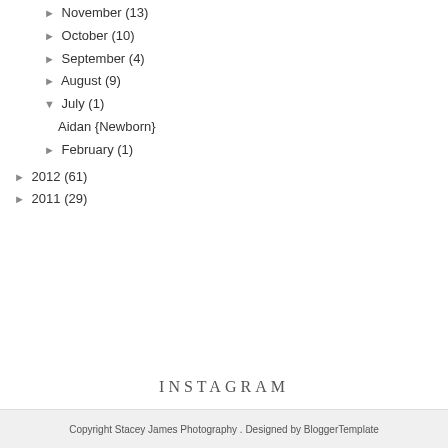► November (13)
► October (10)
► September (4)
► August (9)
▼ July (1)
Aidan {Newborn}
► February (1)
► 2012 (61)
► 2011 (29)
INSTAGRAM
Copyright Stacey James Photography . Designed by BloggerTemplate